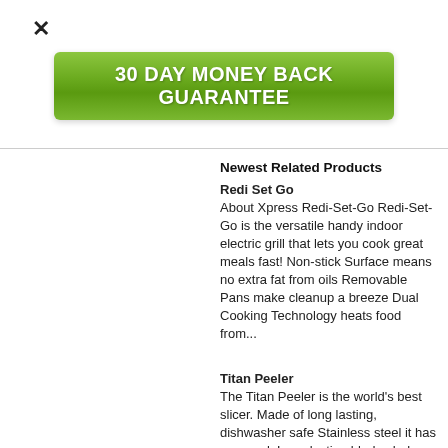[Figure (other): Close button X in top left corner]
[Figure (other): Green banner button reading '30 DAY MONEY BACK GUARANTEE']
Newest Related Products
Redi Set Go
About Xpress Redi-Set-Go Redi-Set-Go is the versatile handy indoor electric grill that lets you cook great meals fast! Non-stick Surface means no extra fat from oils Removable Pans make cleanup a breeze Dual Cooking Technology heats food from...
Titan Peeler
The Titan Peeler is the world's best slicer. Made of long lasting, dishwasher safe Stainless steel it has no equal. Long lasting blades help cut vegetables quickly and easily and slice both hard and soft cheese perfectly, every time. Each Peeler has